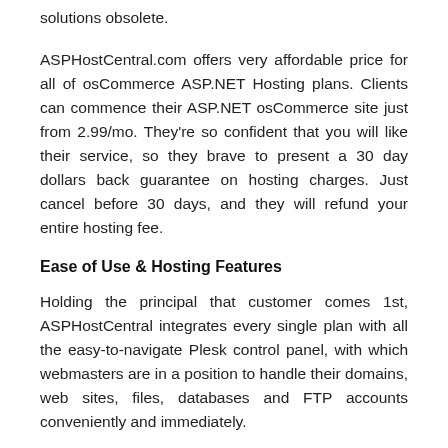solutions obsolete.
ASPHostCentral.com offers very affordable price for all of osCommerce ASP.NET Hosting plans. Clients can commence their ASP.NET osCommerce site just from 2.99/mo. They're so confident that you will like their service, so they brave to present a 30 day dollars back guarantee on hosting charges. Just cancel before 30 days, and they will refund your entire hosting fee.
Ease of Use & Hosting Features
Holding the principal that customer comes 1st, ASPHostCentral integrates every single plan with all the easy-to-navigate Plesk control panel, with which webmasters are in a position to handle their domains, web sites, files, databases and FTP accounts conveniently and immediately.